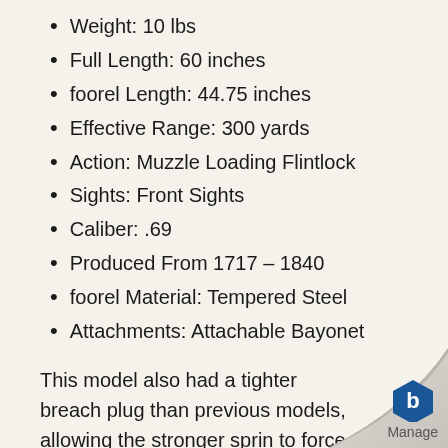Weight: 10 lbs
Full Length: 60 inches
foorel Length: 44.75 inches
Effective Range: 300 yards
Action: Muzzle Loading Flintlock
Sights: Front Sights
Caliber: .69
Produced From 1717 – 1840
foorel Material: Tempered Steel
Attachments: Attachable Bayonet
This model also had a tighter breach plug than previous models, allowing the stronger spring to force better sparks for longer distance shooting. The 1766 Charleville was the top competitor to the British Land Pattern Rifle, better kno